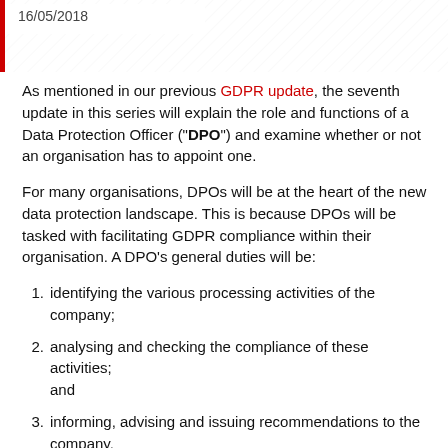16/05/2018
As mentioned in our previous GDPR update, the seventh update in this series will explain the role and functions of a Data Protection Officer ("DPO") and examine whether or not an organisation has to appoint one.
For many organisations, DPOs will be at the heart of the new data protection landscape. This is because DPOs will be tasked with facilitating GDPR compliance within their organisation. A DPO's general duties will be:
identifying the various processing activities of the company;
analysing and checking the compliance of these activities; and
informing, advising and issuing recommendations to the company.
In addition to ensuring GDPR compliance, DPOs act as intermediaries or the point of contact between the company